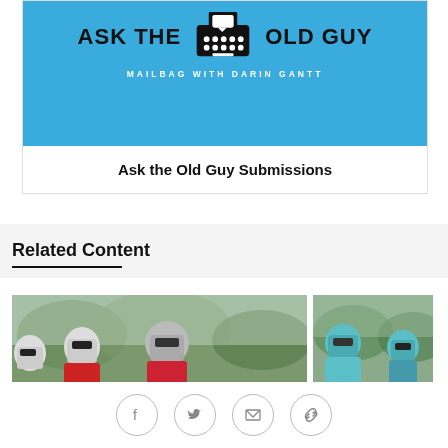[Figure (illustration): Ask the Old Guy - Mailbag with Darin Gantt banner with blue background, typewriter icon, bold text 'ASK THE OLD GUY' and subtitle 'MAILBAG WITH DARIN GANTT']
Ask the Old Guy Submissions
Related Content
[Figure (photo): Football players in helmets and red/blue jerseys at practice, outdoors with green trees in background]
[Figure (photo): Football players in teal/blue uniforms at practice]